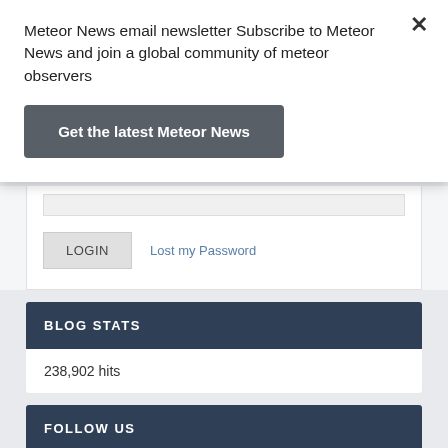Meteor News email newsletter Subscribe to Meteor News and join a global community of meteor observers
Get the latest Meteor News
LOGIN   Lost my Password
BLOG STATS
238,902 hits
FOLLOW US
FACEBOOK